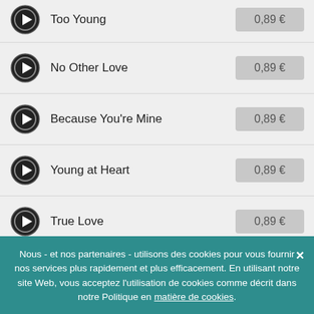Too Young — 0,89 €
No Other Love — 0,89 €
Because You're Mine — 0,89 €
Young at Heart — 0,89 €
True Love — 0,89 €
Secret Love — 0,89 €
Nous - et nos partenaires - utilisons des cookies pour vous fournir nos services plus rapidement et plus efficacement. En utilisant notre site Web, vous acceptez l'utilisation de cookies comme décrit dans notre Politique en matière de cookies.